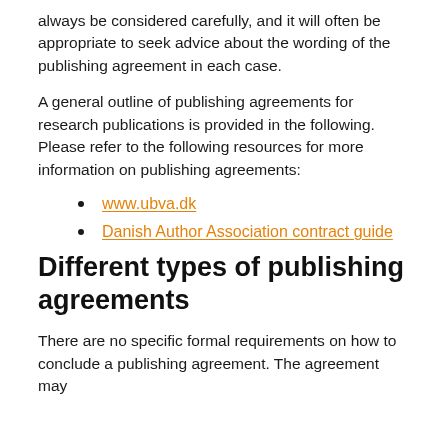always be considered carefully, and it will often be appropriate to seek advice about the wording of the publishing agreement in each case.
A general outline of publishing agreements for research publications is provided in the following. Please refer to the following resources for more information on publishing agreements:
www.ubva.dk
Danish Author Association contract guide
Different types of publishing agreements
There are no specific formal requirements on how to conclude a publishing agreement. The agreement may